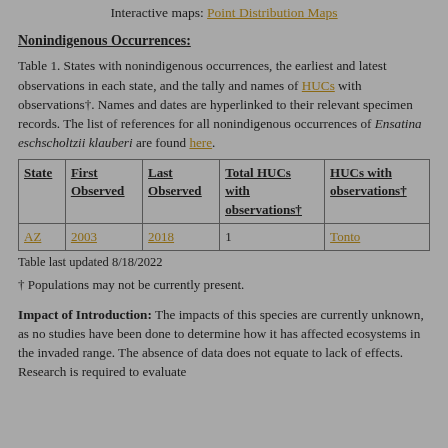Interactive maps: Point Distribution Maps
Nonindigenous Occurrences:
Table 1. States with nonindigenous occurrences, the earliest and latest observations in each state, and the tally and names of HUCs with observations†. Names and dates are hyperlinked to their relevant specimen records. The list of references for all nonindigenous occurrences of Ensatina eschscholtzii klauberi are found here.
| State | First Observed | Last Observed | Total HUCs with observations† | HUCs with observations† |
| --- | --- | --- | --- | --- |
| AZ | 2003 | 2018 | 1 | Tonto |
Table last updated 8/18/2022
† Populations may not be currently present.
Impact of Introduction: The impacts of this species are currently unknown, as no studies have been done to determine how it has affected ecosystems in the invaded range. The absence of data does not equate to lack of effects. Research is required to evaluate